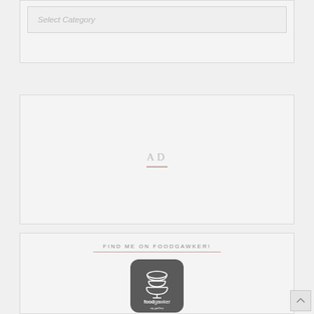Select Category
AD
FIND ME ON FOODGAWKER!
[Figure (logo): Foodgawker 'my gallery' logo badge — dark rounded square with stacked white bowls icon and text 'foodgawker my gallery']